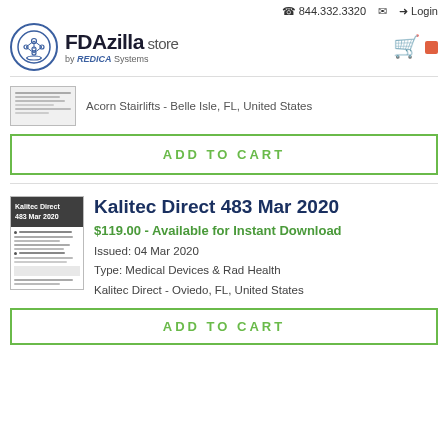844.332.3320  Login
[Figure (logo): FDAzilla store by REDICA Systems logo with circular icon and shopping cart]
[Figure (thumbnail): Thumbnail image of Acorn Stairlifts document]
Acorn Stairlifts - Belle Isle, FL, United States
ADD TO CART
[Figure (thumbnail): Thumbnail of Kalitec Direct 483 Mar 2020 document]
Kalitec Direct 483 Mar 2020
$119.00 - Available for Instant Download
Issued: 04 Mar 2020
Type: Medical Devices & Rad Health
Kalitec Direct - Oviedo, FL, United States
ADD TO CART